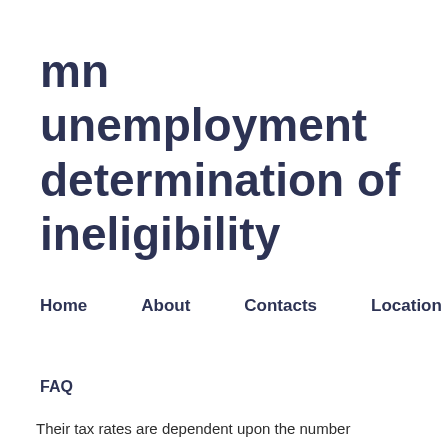mn unemployment determination of ineligibility
Home   About   Contacts   Location
FAQ
Their tax rates are dependent upon the number